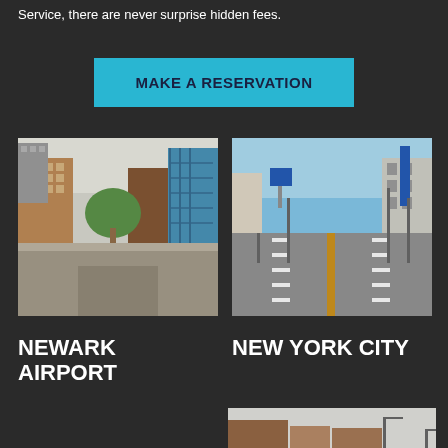Service, there are never surprise hidden fees.
MAKE A RESERVATION
[Figure (photo): Street scene with brick buildings, trees, and vehicles at an intersection]
[Figure (photo): Wide urban road in an Asian city with blue highway signs and buildings]
NEWARK AIRPORT
NEW YORK CITY
[Figure (photo): Partial view of a street scene with buildings and street lights]